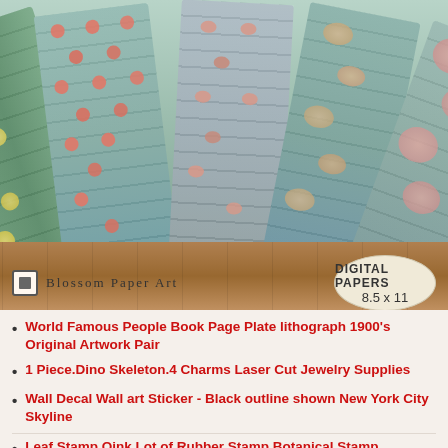[Figure (illustration): Five decorative floral botanical digital paper sheets fanned out on a rustic wooden surface. Papers feature botanical flower patterns on blue-green and pink-beige backgrounds. At the bottom is a brand bar showing 'Blossom Paper Art' logo on the left and 'Digital Papers 8.5 x 11' badge on the right.]
World Famous People Book Page Plate lithograph 1900's Original Artwork Pair
1 Piece.Dino Skeleton.4 Charms Laser Cut Jewelry Supplies
Wall Decal Wall art Sticker - Black outline shown New York City Skyline
Leaf Stamp Oink Lot of Rubber Stamp Botanical Stamp...